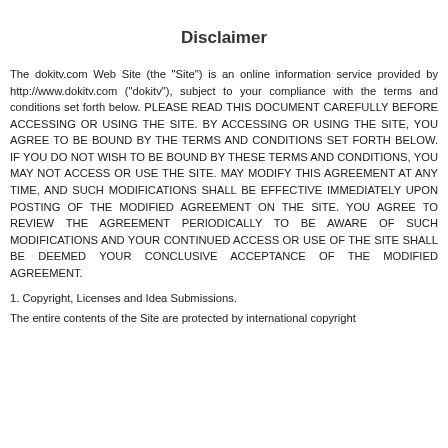Disclaimer
The dokitv.com Web Site (the "Site") is an online information service provided by http://www.dokitv.com ("dokitv"), subject to your compliance with the terms and conditions set forth below. PLEASE READ THIS DOCUMENT CAREFULLY BEFORE ACCESSING OR USING THE SITE. BY ACCESSING OR USING THE SITE, YOU AGREE TO BE BOUND BY THE TERMS AND CONDITIONS SET FORTH BELOW. IF YOU DO NOT WISH TO BE BOUND BY THESE TERMS AND CONDITIONS, YOU MAY NOT ACCESS OR USE THE SITE. MAY MODIFY THIS AGREEMENT AT ANY TIME, AND SUCH MODIFICATIONS SHALL BE EFFECTIVE IMMEDIATELY UPON POSTING OF THE MODIFIED AGREEMENT ON THE SITE. YOU AGREE TO REVIEW THE AGREEMENT PERIODICALLY TO BE AWARE OF SUCH MODIFICATIONS AND YOUR CONTINUED ACCESS OR USE OF THE SITE SHALL BE DEEMED YOUR CONCLUSIVE ACCEPTANCE OF THE MODIFIED AGREEMENT.
1. Copyright, Licenses and Idea Submissions.
The entire contents of the Site are protected by international copyright